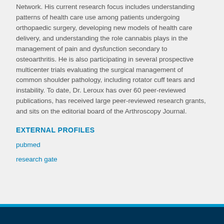Network. His current research focus includes understanding patterns of health care use among patients undergoing orthopaedic surgery, developing new models of health care delivery, and understanding the role cannabis plays in the management of pain and dysfunction secondary to osteoarthritis. He is also participating in several prospective multicenter trials evaluating the surgical management of common shoulder pathology, including rotator cuff tears and instability. To date, Dr. Leroux has over 60 peer-reviewed publications, has received large peer-reviewed research grants, and sits on the editorial board of the Arthroscopy Journal.
EXTERNAL PROFILES
pubmed
research gate